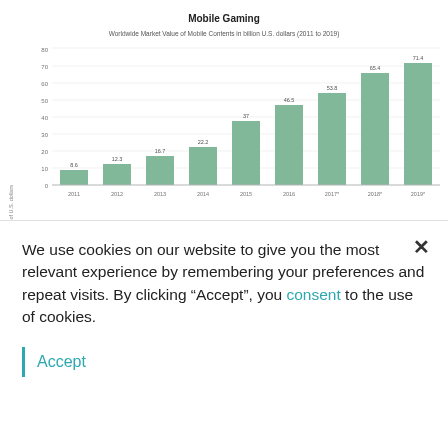[Figure (bar-chart): Mobile Gaming]
We use cookies on our website to give you the most relevant experience by remembering your preferences and repeat visits. By clicking “Accept”, you consent to the use of cookies.
Accept